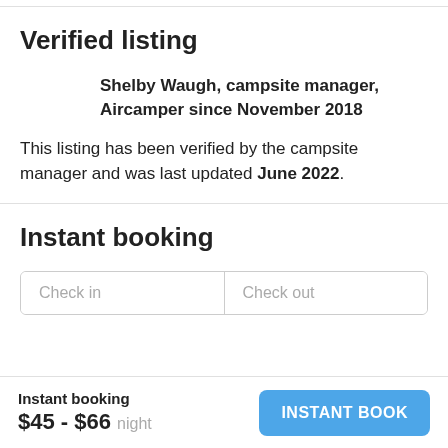Verified listing
Shelby Waugh, campsite manager, Aircamper since November 2018
This listing has been verified by the campsite manager and was last updated June 2022.
Instant booking
Check in
Check out
Instant booking $45 - $66 night
INSTANT BOOK